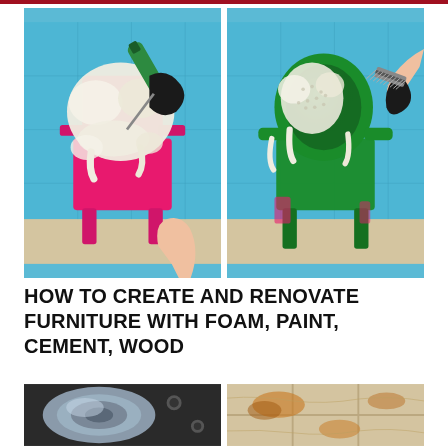[Figure (photo): Two photos side by side: left shows a pink plastic chair being covered with expanding foam from a green bottle by a gloved hand; right shows the same chair painted green with foam applied, being worked on with a scrubbing brush by a gloved hand. Blue background.]
HOW TO CREATE AND RENOVATE FURNITURE WITH FOAM, PAINT, CEMENT, WOOD
[Figure (photo): Two partial photos at the bottom: left shows a metallic roll/coil of material in dark industrial setting; right shows a wood grain or tiled surface with rust/orange staining.]